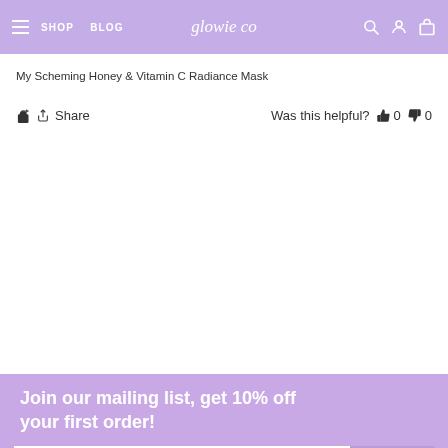SHOP  BLOG  glowie co
My Scheming Honey & Vitamin C Radiance Mask
Share  Was this helpful? 0  0
Join our mailing list, get 10% off your first order!
ENTER EMAIL  GET CODE
Customer Care
Shipping Policy
Refund Policy
FAQ
Privacy Policy
Terms of Service